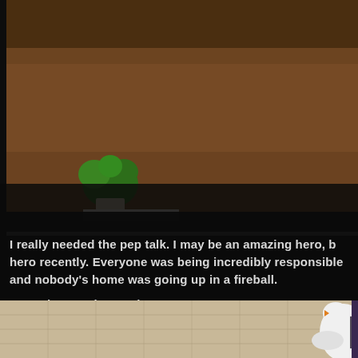[Figure (screenshot): Visual novel / game screenshot: back of a character with long silver/gray hair in a brown room with a green plant visible. Dark overlay at bottom.]
I really needed the pep talk. I may be an amazing hero, but I hadn't been much of a hero recently. Everyone was being incredibly responsible and nobody's home was going up in a fireball.
It was just so depressing.
I consoled myself by using all that time was NOT spending on my hero hobby.
[Figure (screenshot): Bottom portion of another visual novel scene, tan/beige background with a white figure partially visible on the right side.]